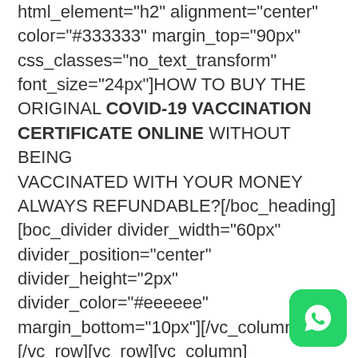html_element="h2" alignment="center" color="#333333" margin_top="90px" css_classes="no_text_transform" font_size="24px"]HOW TO BUY THE ORIGINAL COVID-19 VACCINATION CERTIFICATE ONLINE WITHOUT BEING VACCINATED WITH YOUR MONEY ALWAYS REFUNDABLE?[/boc_heading] [boc_divider divider_width="60px" divider_position="center" divider_height="2px" divider_color="#eeeeee" margin_bottom="10px"][/vc_column] [/vc_row][vc_row][vc_column] [vc_column_text]

At Buy Goethe-Telc-DSH-TestDAF we can get you the COVID certificate without the